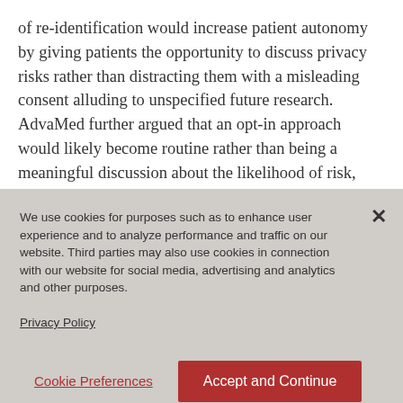of re-identification would increase patient autonomy by giving patients the opportunity to discuss privacy risks rather than distracting them with a misleading consent alluding to unspecified future research. AdvaMed further argued that an opt-in approach would likely become routine rather than being a meaningful discussion about the likelihood of risk, thereby undermining patient autonomy. PhRMA agreed, stating that an opt-out
We use cookies for purposes such as to enhance user experience and to analyze performance and traffic on our website. Third parties may also use cookies in connection with our website for social media, advertising and analytics and other purposes.

Privacy Policy
Cookie Preferences
Accept and Continue